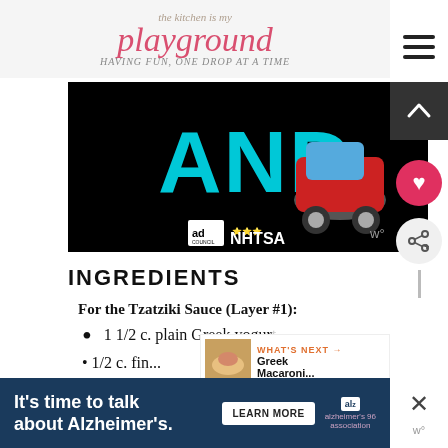[Figure (logo): The Kitchen is My Playground blog logo with decorative pink script text and floral elements]
[Figure (screenshot): NHTSA Ad Council public service announcement banner with black background showing 'AND' text in cyan and a red car emoji, with ad council and NHTSA logos]
INGREDIENTS
For the Tzatziki Sauce (Layer #1):
1 1/2 c. plain Greek yogurt
[Figure (infographic): What's Next widget showing Greek Macaroni... article thumbnail]
[Figure (screenshot): Alzheimer's awareness advertisement banner: It's time to talk about Alzheimer's. with LEARN MORE button and Alzheimer's Association logo]